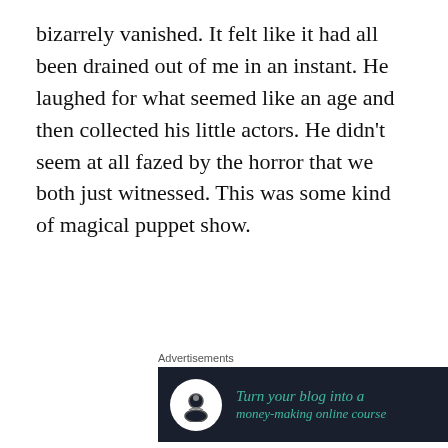bizarrely vanished. It felt like it had all been drained out of me in an instant. He laughed for what seemed like an age and then collected his little actors. He didn't seem at all fazed by the horror that we both just witnessed. This was some kind of magical puppet show.
[Figure (screenshot): Advertisement banner with dark background showing 'Turn your blog into a money-making online course' with arrow, labeled 'Advertisements']
The Cultmaster called the little Lost Souls the Pint-Sized Cult. He was their master and he told me how he made
Privacy & Cookies: This site uses cookies. By continuing to use this website, you agree to their use.
To find out more, including how to control cookies, see here: Cookie Policy
Close and accept
same acts over and over again, savoring the heartbreak